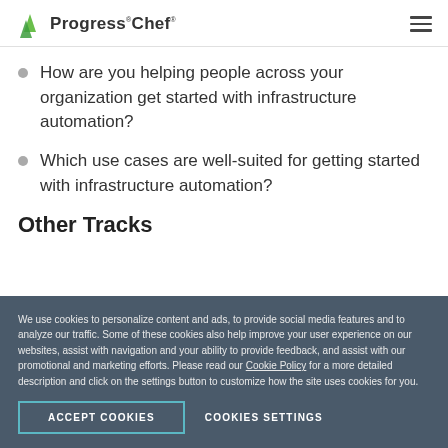Progress Chef
How are you helping people across your organization get started with infrastructure automation?
Which use cases are well-suited for getting started with infrastructure automation?
Other Tracks
We use cookies to personalize content and ads, to provide social media features and to analyze our traffic. Some of these cookies also help improve your user experience on our websites, assist with navigation and your ability to provide feedback, and assist with our promotional and marketing efforts. Please read our Cookie Policy for a more detailed description and click on the settings button to customize how the site uses cookies for you.
ACCEPT COOKIES   COOKIES SETTINGS